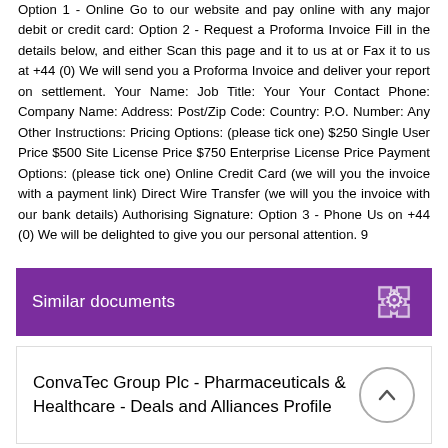Option 1 - Online Go to our website and pay online with any major debit or credit card: Option 2 - Request a Proforma Invoice Fill in the details below, and either Scan this page and it to us at or Fax it to us at +44 (0) We will send you a Proforma Invoice and deliver your report on settlement. Your Name: Job Title: Your Your Contact Phone: Company Name: Address: Post/Zip Code: Country: P.O. Number: Any Other Instructions: Pricing Options: (please tick one) $250 Single User Price $500 Site License Price $750 Enterprise License Price Payment Options: (please tick one) Online Credit Card (we will you the invoice with a payment link) Direct Wire Transfer (we will you the invoice with our bank details) Authorising Signature: Option 3 - Phone Us on +44 (0) We will be delighted to give you our personal attention. 9
Similar documents
ConvaTec Group Plc - Pharmaceuticals & Healthcare - Deals and Alliances Profile